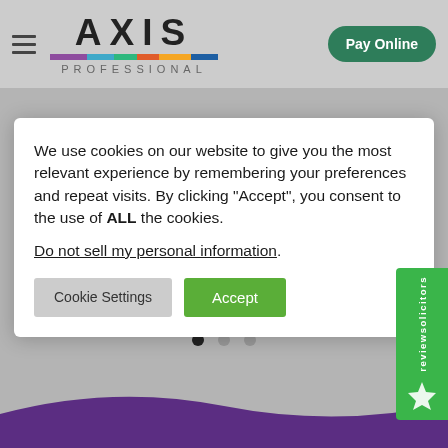[Figure (logo): Axis Professional logo with hamburger menu and Pay Online button in header]
We use cookies on our website to give you the most relevant experience by remembering your preferences and repeat visits. By clicking “Accept”, you consent to the use of ALL the cookies.
Do not sell my personal information.
Cookie Settings   Accept